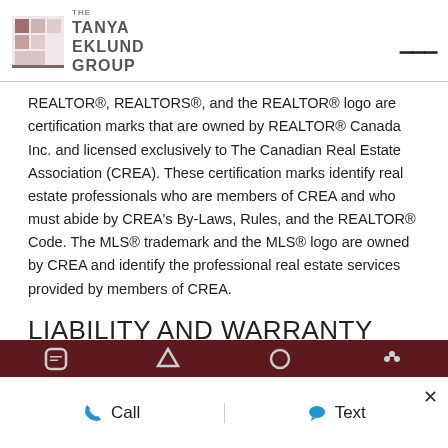THE TANYA EKLUND GROUP
REALTOR®, REALTORS®, and the REALTOR® logo are certification marks that are owned by REALTOR® Canada Inc. and licensed exclusively to The Canadian Real Estate Association (CREA). These certification marks identify real estate professionals who are members of CREA and who must abide by CREA's By-Laws, Rules, and the REALTOR® Code. The MLS® trademark and the MLS® logo are owned by CREA and identify the professional real estate services provided by members of CREA.
LIABILITY AND WARRANTY DISCLAIMER
The information contained on this website is based in whole or in part on information that is provided by members of CREA, who are
Call   Text